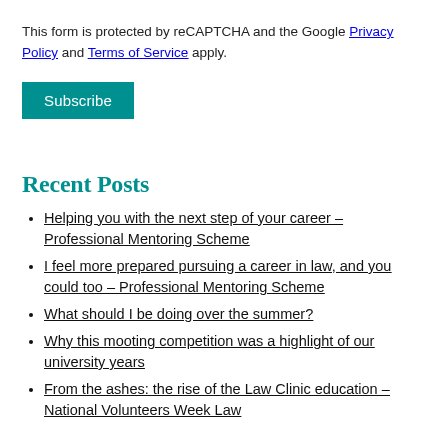This form is protected by reCAPTCHA and the Google Privacy Policy and Terms of Service apply.
Subscribe
Recent Posts
Helping you with the next step of your career – Professional Mentoring Scheme
I feel more prepared pursuing a career in law, and you could too – Professional Mentoring Scheme
What should I be doing over the summer?
Why this mooting competition was a highlight of our university years
From the ashes: the rise of the Law Clinic education – National Volunteers Week Law